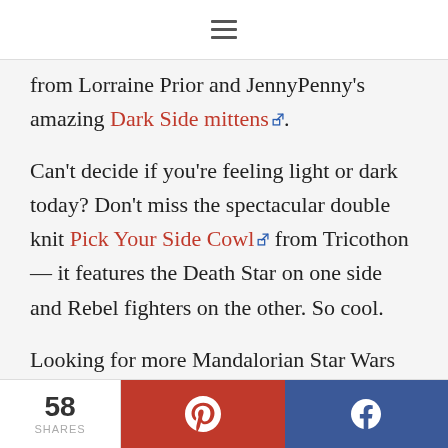Navigation menu icon
from Lorraine Prior and JennyPenny's amazing Dark Side mittens.
Can't decide if you're feeling light or dark today? Don't miss the spectacular double knit Pick Your Side Cowl from Tricothon — it features the Death Star on one side and Rebel fighters on the other. So cool.
Looking for more Mandalorian Star Wars Knitting Patterns? Check these out on Etsy.
58 SHARES | Pinterest share button | Facebook share button